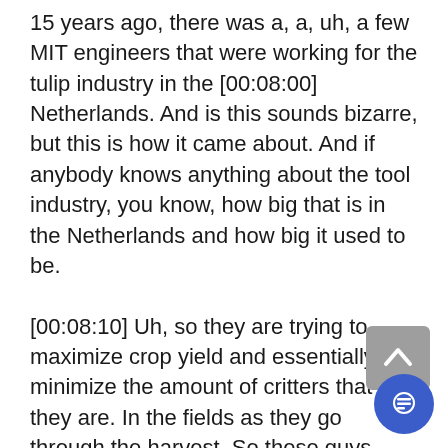15 years ago, there was a, a, uh, a few MIT engineers that were working for the tulip industry in the [00:08:00] Netherlands. And is this sounds bizarre, but this is how it came about. And if anybody knows anything about the tool industry, you know, how big that is in the Netherlands and how big it used to be.
[00:08:10] Uh, so they are trying to maximize crop yield and essentially minimize the amount of critters that they are. In the fields as they go through the harvest. So these guys devise this software program, and this is why it's not a hardware device, the software device. And they sent frequencies to the fi the GPS coordinates of the fields, the rabbits and the rodents don't live